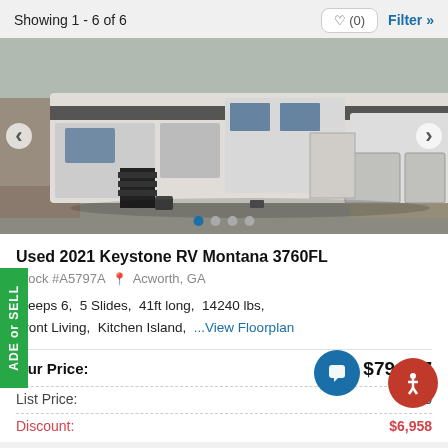Showing 1 - 6 of 6
[Figure (photo): Photo of a Used 2021 Keystone RV Montana 3760FL fifth-wheel trailer parked in a lot, showing the exterior with slide-outs, steps, and storage compartments. Navigation arrows on left and right. Carousel dots at bottom.]
Used 2021 Keystone RV Montana 3760FL
Stock #A5797A  Acworth, GA
Sleeps 6,  5 Slides,  41ft long,  14240 lbs,  Front Living,  Kitchen Island,  ...View Floorplan
Our Price:  $79,917
List Price:  [partially obscured]5
Discount:  $6,958